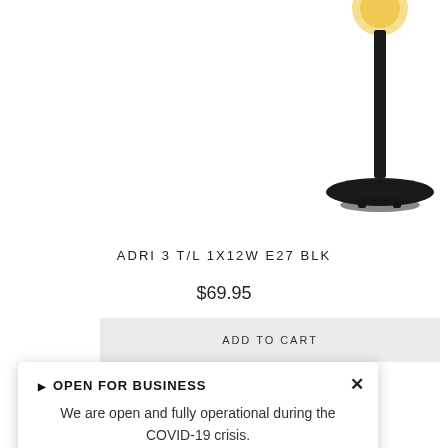[Figure (photo): A black floor lamp (ADRI 3 T/L 1X12W E27 BLK) photographed against a white background. The image shows the lower portion of the lamp — a thin black pole extending down to a round flat black base, with a glowing amber bulb visible at the top.]
ADRI 3 T/L 1X12W E27 BLK
$69.95
ADD TO CART
▶ OPEN FOR BUSINESS
We are open and fully operational during the COVID-19 crisis.